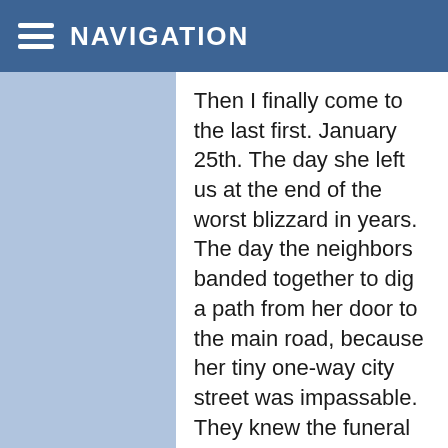NAVIGATION
Then I finally come to the last first. January 25th. The day she left us at the end of the worst blizzard in years. The day the neighbors banded together to dig a path from her door to the main road, because her tiny one-way city street was impassable. They knew the funeral home was coming to carry her, feet first, out of the house that she had lived in since 1960. She always said that she wanted to die at home and have “McCully’s carry me out of this house feet first.” She got her wish.
In the next 61 days I will also deal with the removal of a malignant tumor on our eight-year-old Lab’s foot. There is a possibility that Molly may lose toes in the